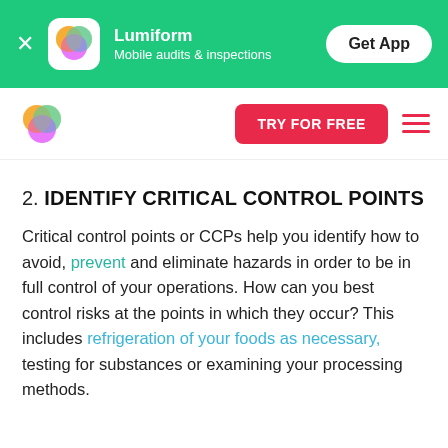[Figure (screenshot): Lumiform app promotional banner with green background, app icon, name 'Lumiform', subtitle 'Mobile audits & inspections', and 'Get App' button]
[Figure (logo): Lumiform logo (colorful overlapping circles) in navigation bar with 'TRY FOR FREE' red button and hamburger menu]
2. IDENTIFY CRITICAL CONTROL POINTS
Critical control points or CCPs help you identify how to avoid, prevent and eliminate hazards in order to be in full control of your operations. How can you best control risks at the points in which they occur? This includes refrigeration of your foods as necessary, testing for substances or examining your processing methods.